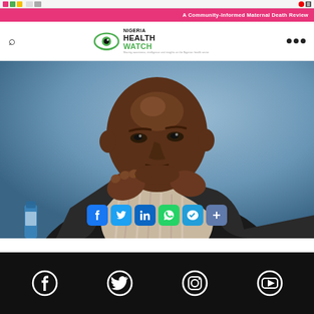A Community-Informed Maternal Death Review
[Figure (logo): Nigeria Health Watch logo with eye icon and tagline]
[Figure (photo): Man in a dark suit resting his chin on his hands, looking pensive, seated at a table with a blue background]
Social media icons: Facebook, Twitter, Instagram, YouTube